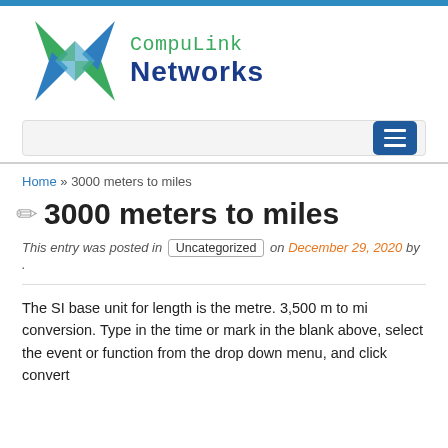[Figure (logo): CompuLink Networks logo with a green and blue X shape and the text 'CompuLink Networks']
Home » 3000 meters to miles
3000 meters to miles
This entry was posted in Uncategorized on December 29, 2020 by .
The SI base unit for length is the metre. 3,500 m to mi conversion. Type in the time or mark in the blank above, select the event or function from the drop down menu, and click convert